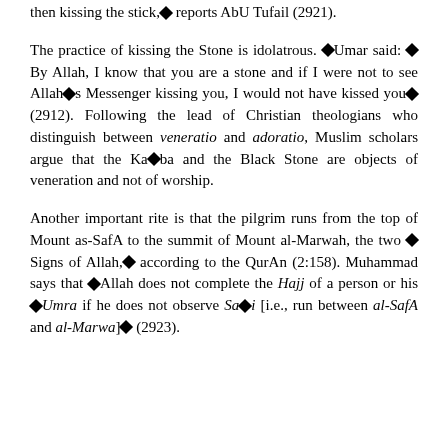then kissing the stick,◆ reports AbU Tufail (2921).
The practice of kissing the Stone is idolatrous. ◆Umar said: ◆By Allah, I know that you are a stone and if I were not to see Allah◆s Messenger kissing you, I would not have kissed you◆ (2912). Following the lead of Christian theologians who distinguish between veneratio and adoratio, Muslim scholars argue that the Ka◆ba and the Black Stone are objects of veneration and not of worship.
Another important rite is that the pilgrim runs from the top of Mount as-SafA to the summit of Mount al-Marwah, the two ◆Signs of Allah,◆ according to the QurAn (2:158). Muhammad says that ◆Allah does not complete the Hajj of a person or his ◆Umra if he does not observe Sa◆i [i.e., run between al-SafA and al-Marwa]◆ (2923).